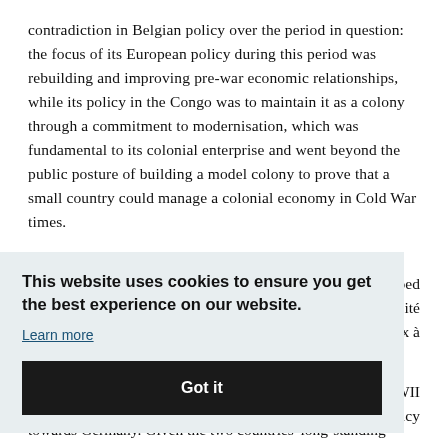contradiction in Belgian policy over the period in question: the focus of its European policy during this period was rebuilding and improving pre-war economic relationships, while its policy in the Congo was to maintain it as a colony through a commitment to modernisation, which was fundamental to its colonial enterprise and went beyond the public posture of building a model colony to prove that a small country could manage a colonial economy in Cold War times.
...oped ...ersité ...ux à
...WWII ...policy towards Germany. Given the two countries' long-standing